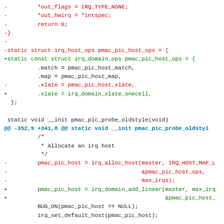[Figure (screenshot): A code diff showing changes to Linux kernel IRQ domain handling code in C. Red lines are removals, green lines are additions, black lines are context. The diff shows replacing irq_host_ops with irq_domain_ops and related API changes.]